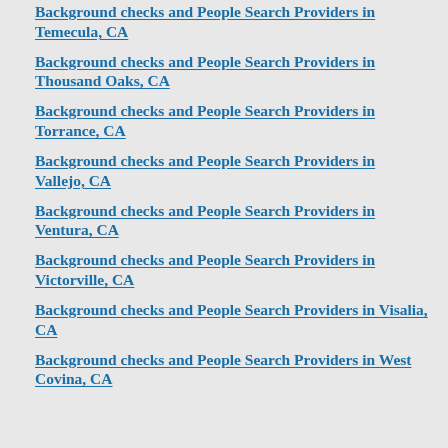Background checks and People Search Providers in Temecula, CA
Background checks and People Search Providers in Thousand Oaks, CA
Background checks and People Search Providers in Torrance, CA
Background checks and People Search Providers in Vallejo, CA
Background checks and People Search Providers in Ventura, CA
Background checks and People Search Providers in Victorville, CA
Background checks and People Search Providers in Visalia, CA
Background checks and People Search Providers in West Covina, CA